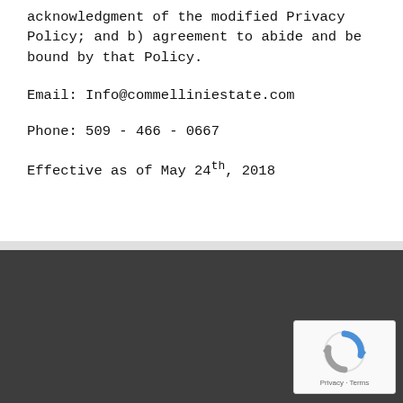acknowledgment of the modified Privacy Policy; and b) agreement to abide and be bound by that Policy.
Email: Info@commelliniestate.com
Phone: 509 - 466 - 0667
Effective as of May 24th, 2018
[Figure (other): reCAPTCHA widget with logo and Privacy - Terms text]